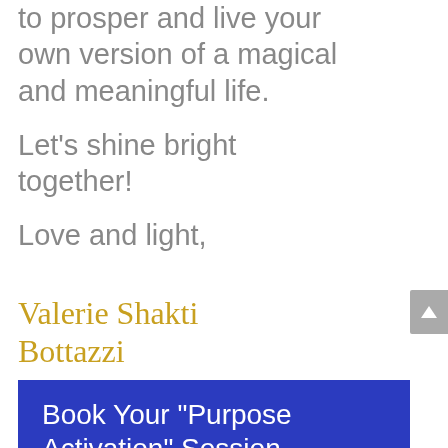to prosper and live your own version of a magical and meaningful life.
Let's shine bright together!
Love and light,
Valerie Shakti Bottazzi
Life Coach & Healer
Book Your "Purpose Activation" Session